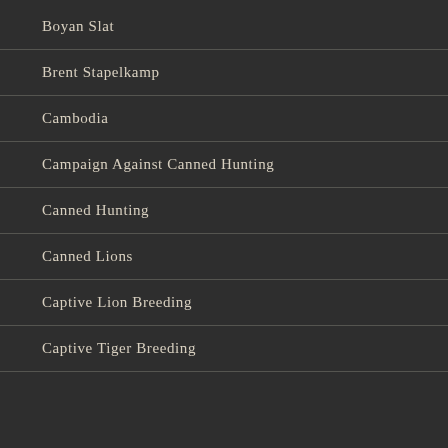Boyan Slat
Brent Stapelkamp
Cambodia
Campaign Against Canned Hunting
Canned Hunting
Canned Lions
Captive Lion Breeding
Captive Tiger Breeding